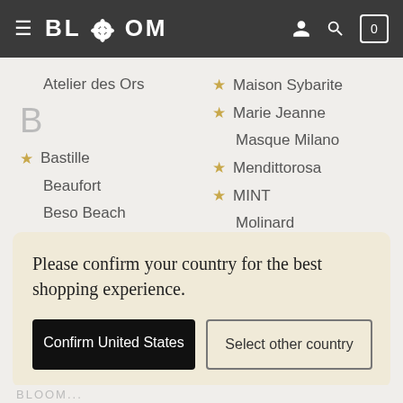BLOOM
Atelier des Ors
B
★ Bastille
Beaufort
Beso Beach
Bloom Perfumery...
★ Maison Sybarite
★ Marie Jeanne
Masque Milano
★ Mendittorosa
★ MINT
Molinard
Please confirm your country for the best shopping experience.
Confirm United States
Select other country